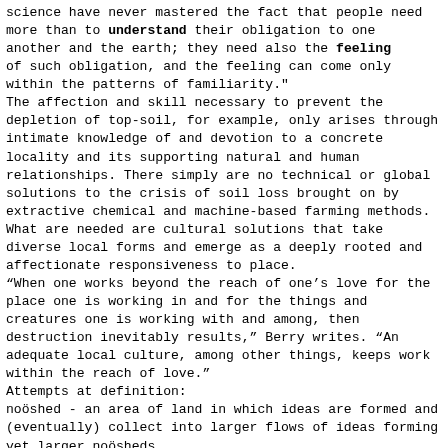science have never mastered the fact that people need more than to **understand** their obligation to one another and the earth; they need also the **feeling** of such obligation, and the feeling can come only within the patterns of familiarity."
The affection and skill necessary to prevent the depletion of top-soil, for example, only arises through intimate knowledge of and devotion to a concrete locality and its supporting natural and human relationships. There simply are no technical or global solutions to the crisis of soil loss brought on by extractive chemical and machine-based farming methods. What are needed are cultural solutions that take diverse local forms and emerge as a deeply rooted and affectionate responsiveness to place.
“When one works beyond the reach of one’s love for the place one is working in and for the things and creatures one is working with and among, then destruction inevitably results,” Berry writes. “An adequate local culture, among other things, keeps work within the reach of love.”
Attempts at definition:
noöshed - an area of land in which ideas are formed and (eventually) collect into larger flows of ideas forming yet larger noösheds.
terroirist - proponent, and defender of one's noöshed, but also an advocate for reinhabitation of one's place, resisting globalization.
- Randall